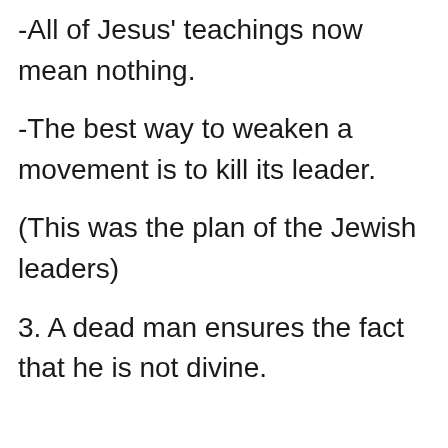-All of Jesus' teachings now mean nothing.
-The best way to weaken a movement is to kill its leader.
(This was the plan of the Jewish leaders)
3. A dead man ensures the fact that he is not divine.